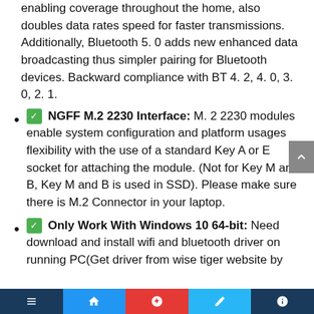…ranges over 2x. 2 using the same TX power, enabling coverage throughout the home, also doubles data rates speed for faster transmissions. Additionally, Bluetooth 5. 0 adds new enhanced data broadcasting thus simpler pairing for Bluetooth devices. Backward compliance with BT 4. 2, 4. 0, 3. 0, 2. 1.
✅ NGFF M.2 2230 Interface: M. 2 2230 modules enable system configuration and platform usages flexibility with the use of a standard Key A or E socket for attaching the module. (Not for Key M and B, Key M and B is used in SSD). Please make sure there is M.2 Connector in your laptop.
✅ Only Work With Windows 10 64-bit: Need download and install wifi and bluetooth driver on running PC(Get driver from wise tiger website by